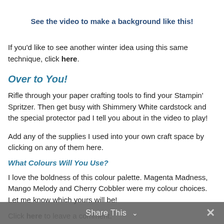See the video to make a background like this!
If you'd like to see another winter idea using this same technique, click here.
Over to You!
Rifle through your paper crafting tools to find your Stampin' Spritzer. Then get busy with Shimmery White cardstock and the special protector pad I tell you about in the video to play!
Add any of the supplies I used into your own craft space by clicking on any of them here.
What Colours Will You Use?
I love the boldness of this colour palette. Magenta Madness, Mango Melody and Cherry Cobbler were my colour choices. Let me know which yours will be!
Click here to leave a comment.
Share This ∨  ✕